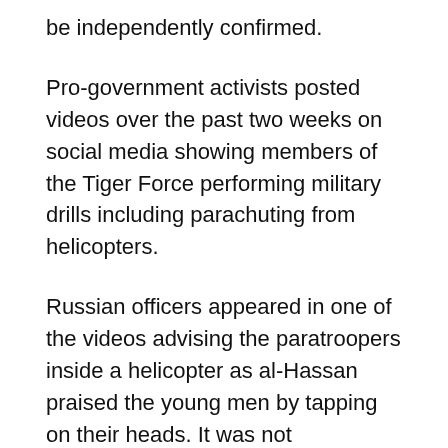be independently confirmed.
Pro-government activists posted videos over the past two weeks on social media showing members of the Tiger Force performing military drills including parachuting from helicopters.
Russian officers appeared in one of the videos advising the paratroopers inside a helicopter as al-Hassan praised the young men by tapping on their heads. It was not immediately clear if the videos were new.
Abdurrahman said there are also volunteers from the Russian-trained 5th Division; the Baath